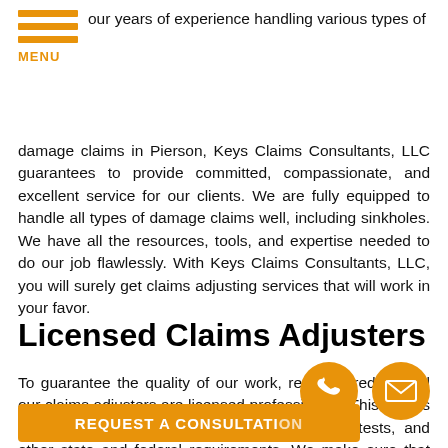MENU
our years of experience handling various types of damage claims in Pierson, Keys Claims Consultants, LLC guarantees to provide committed, compassionate, and excellent service for our clients. We are fully equipped to handle all types of damage claims well, including sinkholes. We have all the resources, tools, and expertise needed to do our job flawlessly. With Keys Claims Consultants, LLC, you will surely get claims adjusting services that will work in your favor.
Licensed Claims Adjusters
To guarantee the quality of our work, rest assured that all our claims adjusters are licensed professionals. This means that they have academic levels, standardized tests, and other state and federal requirements. We make sure that our work is of the highest quality possible in the field.
[Figure (other): Phone icon (orange circle with phone handset symbol) and email icon (orange circle with envelope symbol)]
REQUEST A CONSULTATION